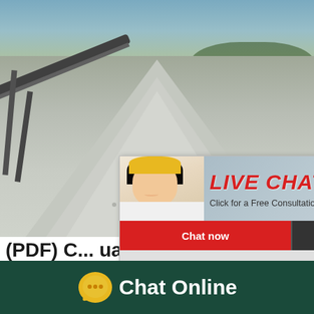[Figure (photo): Quarry site with a large pile of crushed gravel/stone aggregate, conveyor belt visible on the left, trees in background]
[Figure (screenshot): Live chat popup overlay showing construction workers in hard hats, LIVE CHAT text in red italic, 'Click for a Free Consultation' subtitle, Chat now and Chat later buttons]
[Figure (photo): Right side: orange 'hour online' banner and female customer service agent wearing headset]
(PDF) C... ual Prabir ... -
The load is placed centrally on the belt. 2. Th... ed in the direction of belt travel and at a spee... of the belt. 3. The angle of incline at the load...
Chat Online